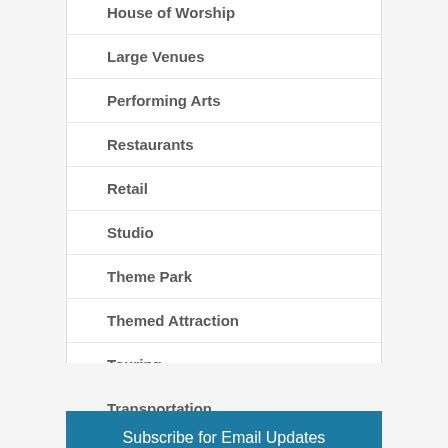House of Worship
Large Venues
Performing Arts
Restaurants
Retail
Studio
Theme Park
Themed Attraction
Touring
Transportation
Subscribe for Email Updates